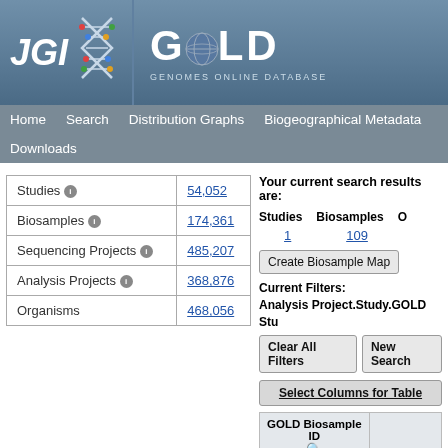[Figure (logo): JGI GOLD - Genomes Online Database logo with DNA helix icon]
Home  Search  Distribution Graphs  Biogeographical Metadata  Downloads
| Category | Count |
| --- | --- |
| Studies | 54,052 |
| Biosamples | 174,361 |
| Sequencing Projects | 485,207 |
| Analysis Projects | 368,876 |
| Organisms | 468,056 |
Your current search results are:
| Studies | Biosamples | C |
| --- | --- | --- |
| 1 | 109 |  |
Create Biosample Map
Current Filters:
Analysis Project.Study.GOLD Stu
Clear All Filters   New Search
Select Columns for Table
| GOLD Biosample ID |  |
| --- | --- |
| Gb0306775 | Coprinops... Switzerla... |
| Gb0306774 | Coprinops... Switzerla... |
| Gb0306773 | Coprinop... |